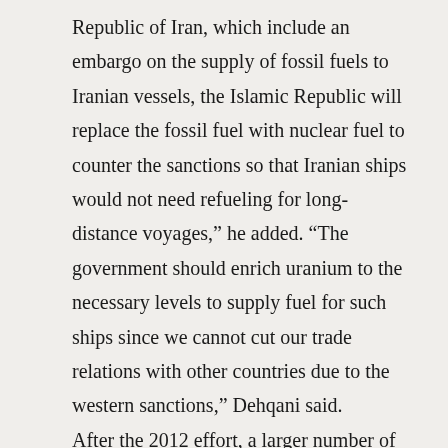Republic of Iran, which include an embargo on the supply of fossil fuels to Iranian vessels, the Islamic Republic will replace the fossil fuel with nuclear fuel to counter the sanctions so that Iranian ships would not need refueling for long-distance voyages," he added. "The government should enrich uranium to the necessary levels to supply fuel for such ships since we cannot cut our trade relations with other countries due to the western sanctions," Dehqani said. After the 2012 effort, a larger number of Iranian legislators presented a new bill to the Presiding Board but it was rejected too. Iran announced in April that it could start enriching uranium to the purity level of 50 percent if its research community declares a need to nuclear-fueled